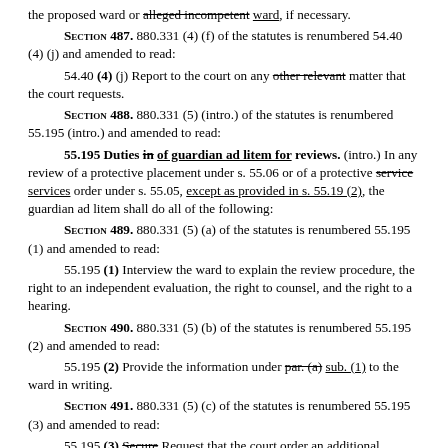the proposed ward or alleged incompetent ward, if necessary.
Section 487. 880.331 (4) (f) of the statutes is renumbered 54.40 (4) (j) and amended to read:
54.40 (4) (j) Report to the court on any other relevant matter that the court requests.
Section 488. 880.331 (5) (intro.) of the statutes is renumbered 55.195 (intro.) and amended to read:
55.195 Duties in of guardian ad litem for reviews. (intro.) In any review of a protective placement under s. 55.06 or of a protective service services order under s. 55.05, except as provided in s. 55.19 (2), the guardian ad litem shall do all of the following:
Section 489. 880.331 (5) (a) of the statutes is renumbered 55.195 (1) and amended to read:
55.195 (1) Interview the ward to explain the review procedure, the right to an independent evaluation, the right to counsel, and the right to a hearing.
Section 490. 880.331 (5) (b) of the statutes is renumbered 55.195 (2) and amended to read:
55.195 (2) Provide the information under par. (a) sub. (1) to the ward in writing.
Section 491. 880.331 (5) (c) of the statutes is renumbered 55.195 (3) and amended to read:
55.195 (3) Secure Request that the court order an additional medical, psychological, or other evaluation of the ward, if